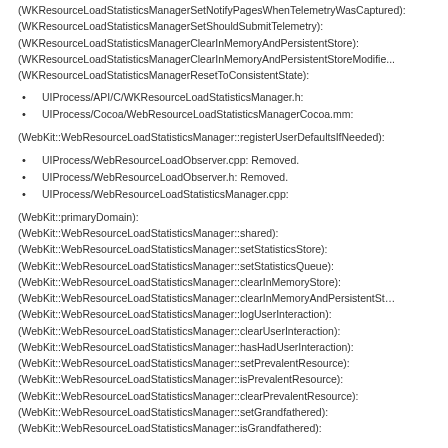(WKResourceLoadStatisticsManagerSetNotifyPagesWhenTelemetryWasCaptured):
(WKResourceLoadStatisticsManagerSetShouldSubmitTelemetry):
(WKResourceLoadStatisticsManagerClearInMemoryAndPersistentStore):
(WKResourceLoadStatisticsManagerClearInMemoryAndPersistentStoreModifier):
(WKResourceLoadStatisticsManagerResetToConsistentState):
UIProcess/API/C/WKResourceLoadStatisticsManager.h:
UIProcess/Cocoa/WebResourceLoadStatisticsManagerCocoa.mm:
(WebKit::WebResourceLoadStatisticsManager::registerUserDefaultsIfNeeded):
UIProcess/WebResourceLoadObserver.cpp: Removed.
UIProcess/WebResourceLoadObserver.h: Removed.
UIProcess/WebResourceLoadStatisticsManager.cpp:
(WebKit::primaryDomain):
(WebKit::WebResourceLoadStatisticsManager::shared):
(WebKit::WebResourceLoadStatisticsManager::setStatisticsStore):
(WebKit::WebResourceLoadStatisticsManager::setStatisticsQueue):
(WebKit::WebResourceLoadStatisticsManager::clearInMemoryStore):
(WebKit::WebResourceLoadStatisticsManager::clearInMemoryAndPersistentSt...
(WebKit::WebResourceLoadStatisticsManager::logUserInteraction):
(WebKit::WebResourceLoadStatisticsManager::clearUserInteraction):
(WebKit::WebResourceLoadStatisticsManager::hasHadUserInteraction):
(WebKit::WebResourceLoadStatisticsManager::setPrevalentResource):
(WebKit::WebResourceLoadStatisticsManager::isPrevalentResource):
(WebKit::WebResourceLoadStatisticsManager::clearPrevalentResource):
(WebKit::WebResourceLoadStatisticsManager::setGrandfathered):
(WebKit::WebResourceLoadStatisticsManager::isGrandfathered):